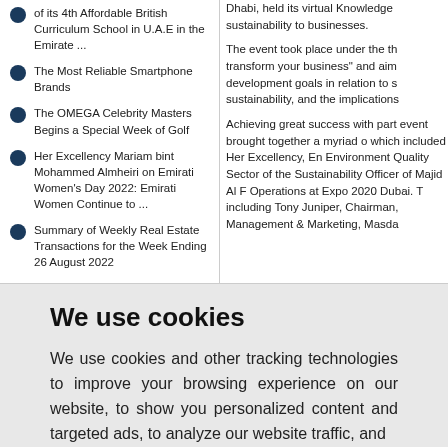of its 4th Affordable British Curriculum School in U.A.E in the Emirate ...
The Most Reliable Smartphone Brands
The OMEGA Celebrity Masters Begins a Special Week of Golf
Her Excellency Mariam bint Mohammed Almheiri on Emirati Women's Day 2022: Emirati Women Continue to ...
Summary of Weekly Real Estate Transactions for the Week Ending 26 August 2022
Dhabi, held its virtual Knowledge sustainability to businesses.
The event took place under the th transform your business" and aim development goals in relation to s sustainability, and the implications
Achieving great success with part event brought together a myriad o which included Her Excellency, En Environment Quality Sector of the Sustainability Officer of Majid Al F Operations at Expo 2020 Dubai. T including Tony Juniper, Chairman, Management & Marketing, Masda
We use cookies
We use cookies and other tracking technologies to improve your browsing experience on our website, to show you personalized content and targeted ads, to analyze our website traffic, and